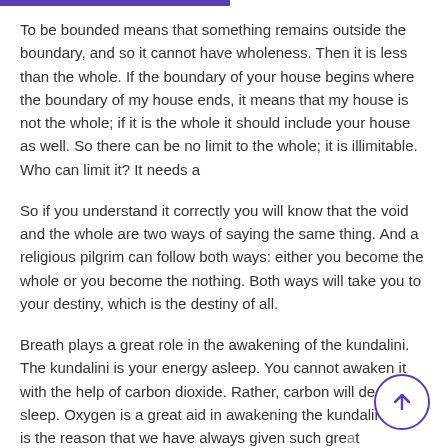To be bounded means that something remains outside the boundary, and so it cannot have wholeness. Then it is less than the whole. If the boundary of your house begins where the boundary of my house ends, it means that my house is not the whole; if it is the whole it should include your house as well. So there can be no limit to the whole; it is illimitable. Who can limit it? It needs a
So if you understand it correctly you will know that the void and the whole are two ways of saying the same thing. And a religious pilgrim can follow both ways: either you become the whole or you become the nothing. Both ways will take you to your destiny, which is the destiny of all.
Breath plays a great role in the awakening of the kundalini. The kundalini is your energy asleep. You cannot awaken it with the help of carbon dioxide. Rather, carbon will deepen its sleep. Oxygen is a great aid in awakening the kundalini. This is the reason that we have always given such gre... importance to morning meditation. The reason is this: th...